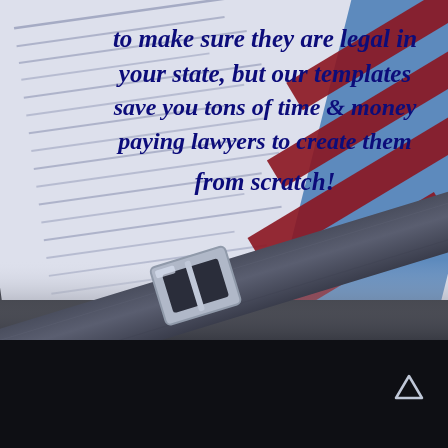[Figure (photo): Background photo of a legal document with blurred text, a dark belt with silver buckle, and a blue and red striped tie on the right side. The upper portion shows a white/light blue document page at an angle with cursive-style text lines visible.]
to make sure they are legal in your state, but our templates save you tons of time & money paying lawyers to create them from scratch!